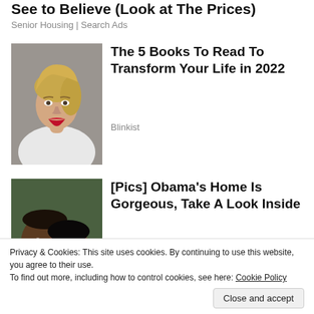See to Believe (Look at The Prices)
Senior Housing | Search Ads
[Figure (photo): Portrait of a young blonde woman in white clothing against a grey background]
The 5 Books To Read To Transform Your Life in 2022
Blinkist
[Figure (photo): Photo of Barack Obama and Michelle Obama cheek to cheek, smiling]
[Pics] Obama's Home Is Gorgeous, Take A Look Inside
BuzzAura
Privacy & Cookies: This site uses cookies. By continuing to use this website, you agree to their use.
To find out more, including how to control cookies, see here: Cookie Policy
Close and accept